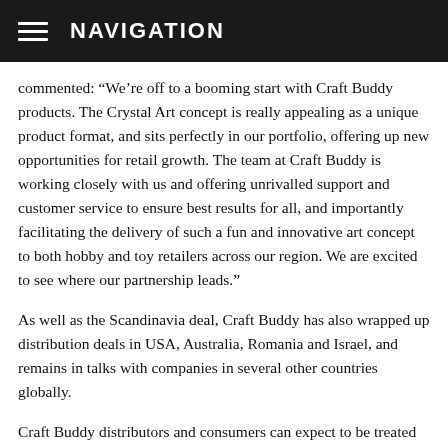NAVIGATION
commented: “We’re off to a booming start with Craft Buddy products. The Crystal Art concept is really appealing as a unique product format, and sits perfectly in our portfolio, offering up new opportunities for retail growth. The team at Craft Buddy is working closely with us and offering unrivalled support and customer service to ensure best results for all, and importantly facilitating the delivery of such a fun and innovative art concept to both hobby and toy retailers across our region. We are excited to see where our partnership leads.”
As well as the Scandinavia deal, Craft Buddy has also wrapped up distribution deals in USA, Australia, Romania and Israel, and remains in talks with companies in several other countries globally.
Craft Buddy distributors and consumers can expect to be treated to new exclusive designs and releases over the upcoming months including new licence announcements, as part of ambitious growth plans to offer inspired, educational and on trend ranges across a variety of price points.